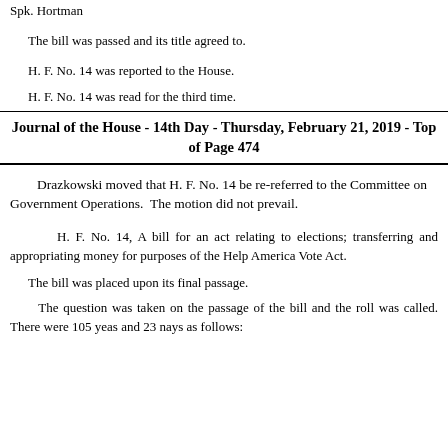Spk. Hortman
The bill was passed and its title agreed to.
H. F. No. 14 was reported to the House.
H. F. No. 14 was read for the third time.
Journal of the House - 14th Day - Thursday, February 21, 2019 - Top of Page 474
Drazkowski moved that H. F. No. 14 be re-referred to the Committee on Government Operations.  The motion did not prevail.
H. F. No. 14, A bill for an act relating to elections; transferring and appropriating money for purposes of the Help America Vote Act.
The bill was placed upon its final passage.
The question was taken on the passage of the bill and the roll was called. There were 105 yeas and 23 nays as follows: